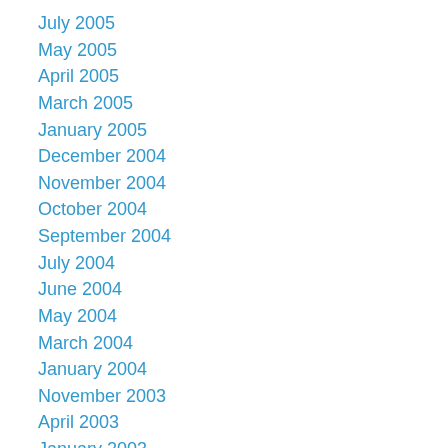July 2005
May 2005
April 2005
March 2005
January 2005
December 2004
November 2004
October 2004
September 2004
July 2004
June 2004
May 2004
March 2004
January 2004
November 2003
April 2003
January 2003
October 2002
August 2002
July 2002